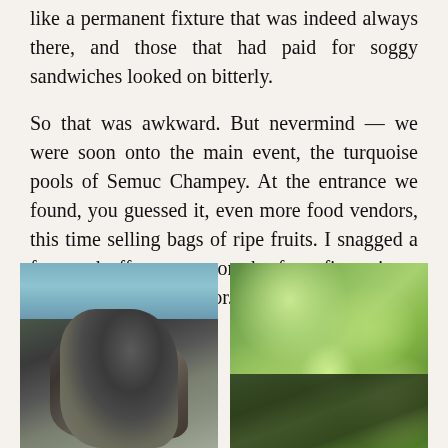like a permanent fixture that was indeed always there, and those that had paid for soggy sandwiches looked on bitterly.
So that was awkward. But nevermind — we were soon onto the main event, the turquoise pools of Semuc Champey. At the entrance we found, you guessed it, even more food vendors, this time selling bags of ripe fruits. I snagged a few, and off we went on the forty-five minute uphill slog to El Mirador.
[Figure (photo): Rocky outcrop beside turquoise water, with a person visible on top of the rock]
[Figure (photo): Green foliage and leaves in bright sunlight, with dark leaf shapes in foreground]